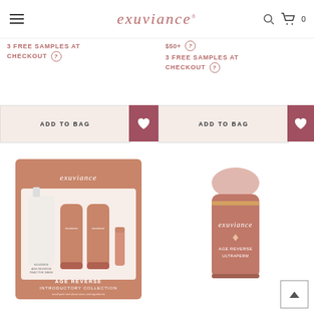exuviance
3 FREE SAMPLES AT CHECKOUT
$50+ | 3 FREE SAMPLES AT CHECKOUT
ADD TO BAG
ADD TO BAG
[Figure (photo): Exuviance Age Reverse Introductory Collection gift set box with multiple skincare products]
[Figure (photo): Exuviance Age Reverse Ultraperm skincare product bottle in pink/mauve packaging]